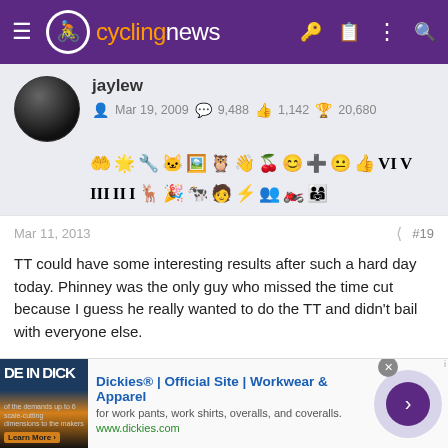cyclingnews
[Figure (screenshot): User profile: jaylew, joined Mar 19 2009, 9,488 messages, 1,142 likes, 20,680 points, with achievement badges]
Mar 11, 2013  #19
TT could have some interesting results after such a hard day today. Phinney was the only guy who missed the time cut because I guess he really wanted to do the TT and didn't bail with everyone else.
From his twitter:
[Figure (screenshot): Advertisement: Dickies Official Site - Workwear & Apparel, for work pants, work shirts, overalls, and coveralls. www.dickies.com]